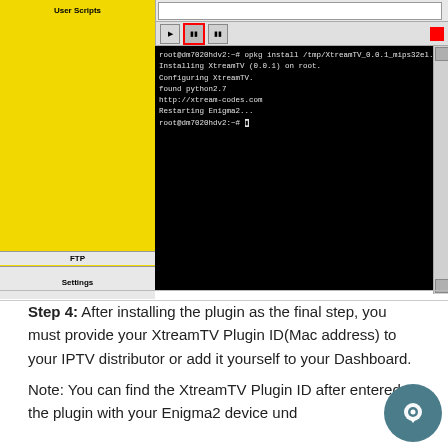[Figure (screenshot): Terminal/FTP client software screenshot showing a black terminal window with command output installing XtreamTV plugin on a dm7020hdv2 device. Left panel is yellow with 'User Scripts' label and FTP/Settings buttons at bottom. Terminal shows opkg install command output.]
Step 4: After installing the plugin as the final step, you must provide your XtreamTV Plugin ID(Mac address) to your IPTV distributor or add it yourself to your Dashboard.
Note: You can find the XtreamTV Plugin ID after entered the plugin with your Enigma2 device under "Dashboard"